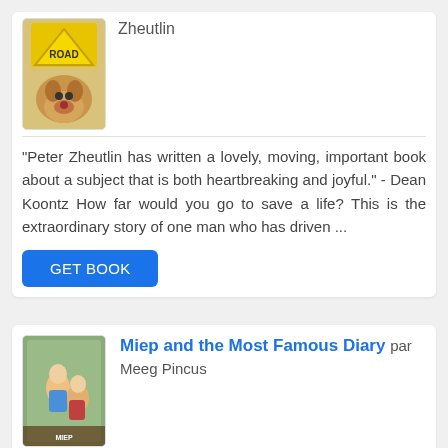Zheutlin
"Peter Zheutlin has written a lovely, moving, important book about a subject that is both heartbreaking and joyful." - Dean Koontz How far would you go to save a life? This is the extraordinary story of one man who has driven ...
GET BOOK
Miep and the Most Famous Diary par Meeg Pincus